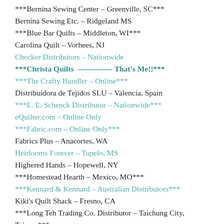***Bernina Sewing Center – Greenville, SC***
Bernina Sewing Etc. – Ridgeland MS
***Blue Bar Quilts – Middleton, WI***
Carolina Quilt – Vorhees, NJ
Checker Distributors – Nationwide
***Christa Quilts  ————– That's Me!!***
***The Crafty Bundler – Online***
Distribuidora de Tejidos SLU – Valencia, Spain
***E. E. Schenck Distributor – Nationwide***
eQuilter.com – Online Only
***Fabric.com – Online Only***
Fabrics Plus – Anacortes, WA
Heirlooms Forever – Tupelo, MS
Highered Hands – Hopewell, NY
***Homestead Hearth – Mexico, MO***
***Kennard & Kennard – Australian Distributors***
Kiki's Quilt Shack – Fresno, CA
***Long Teh Trading Co. Distributor – Taichung City, Taiwan***